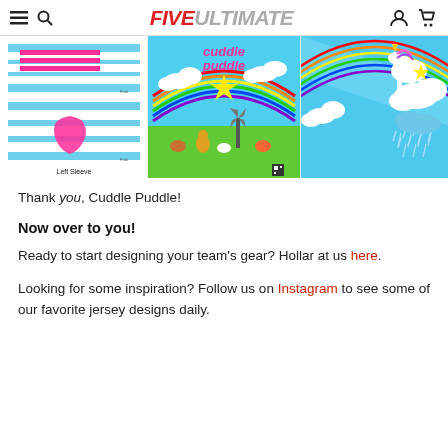FIVEULTIMATE
[Figure (screenshot): Three jersey design panels: left panel shows a light blue and white striped jersey sleeve design with Texas outline in pink and 'Left Sleeve' label; center panel shows colorful 'cuddle puddle' jersey with cartoon animals, rainbow, clouds, windmill on green/blue background; right panel shows blue sky jersey with unicorn, rainbow, clouds and rain design.]
Thank you, Cuddle Puddle!
Now over to you!
Ready to start designing your team's gear? Hollar at us here.
Looking for some inspiration? Follow us on Instagram to see some of our favorite jersey designs daily.